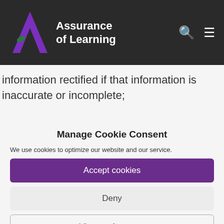[Figure (logo): Assurance of Learning logo with purple stylized letter A and green leaf accent, white text on dark background header with search and menu icons]
information rectified if that information is inaccurate or incomplete;
Manage Cookie Consent
We use cookies to optimize our website and our service.
Accept cookies
Deny
View preferences